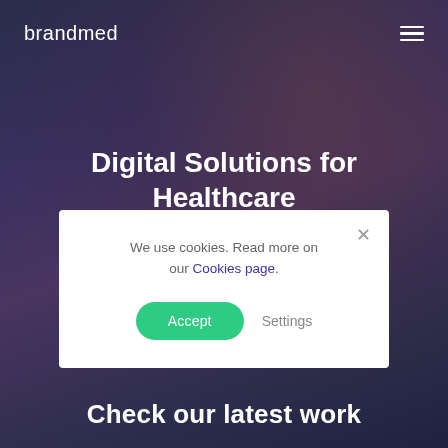brandmed
Digital Solutions for Healthcare
With our practical medical and marketing solutions... and success.
We use cookies. Read more on our Cookies page.
Check our latest work